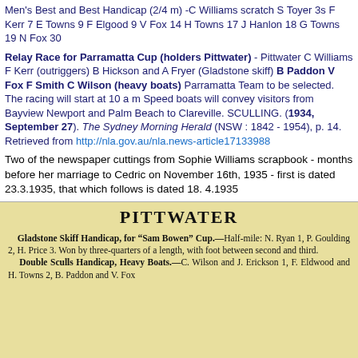Men's Best and Best Handicap (2/4 m) -C Williams scratch S Toyer 3s F Kerr 7 E Towns 9 F Elgood 9 V Fox 14 H Towns 17 J Hanlon 18 G Towns 19 N Fox 30
Relay Race for Parramatta Cup (holders Pittwater) - Pittwater C Williams F Kerr (outriggers) B Hickson and A Fryer (Gladstone skiff) B Paddon V Fox F Smith C Wilson (heavy boats) Parramatta Team to be selected. The racing will start at 10 a m Speed boats will convey visitors from Bayview Newport and Palm Beach to Clareville. SCULLING. (1934, September 27). The Sydney Morning Herald (NSW : 1842 - 1954), p. 14. Retrieved from http://nla.gov.au/nla.news-article17133988
Two of the newspaper cuttings from Sophie Williams scrapbook - months before her marriage to Cedric on November 16th, 1935 - first is dated 23.3.1935, that which follows is dated 18. 4.1935
[Figure (photo): Scanned newspaper clipping with yellowed background. Headline reads PITTWATER. Text describes Gladstone Skiff Handicap for 'Sam Bowen' Cup—Half-mile: N. Ryan 1, P. Goulding 2, H. Price 3. Won by three-quarters of a length, with foot between second and third. Double Sculls Handicap, Heavy Boats.— C. Wilson and J. Erickson 1, F. Eldwood and H. Towns 2, B. Paddon and V. Fox (text cut off).]